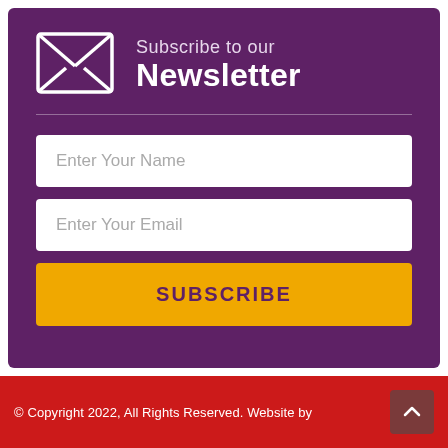[Figure (illustration): White envelope icon on purple background]
Subscribe to our Newsletter
Enter Your Name
Enter Your Email
SUBSCRIBE
© Copyright 2022, All Rights Reserved. Website by